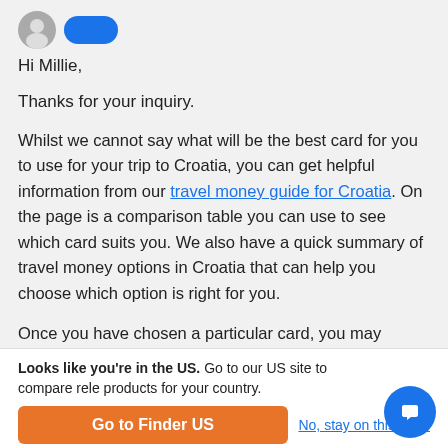[Figure (illustration): Top area showing two avatar images and a blue button, partially visible at top of page]
Hi Millie,
Thanks for your inquiry.
Whilst we cannot say what will be the best card for you to use for your trip to Croatia, you can get helpful information from our travel money guide for Croatia. On the page is a comparison table you can use to see which card suits you. We also have a quick summary of travel money options in Croatia that can help you choose which option is right for you.
Once you have chosen a particular card, you may th... click the "Go to site" button and you will b...
Looks like you're in the US. Go to our US site to compare rele products for your country.
Go to Finder US
No, stay on this page